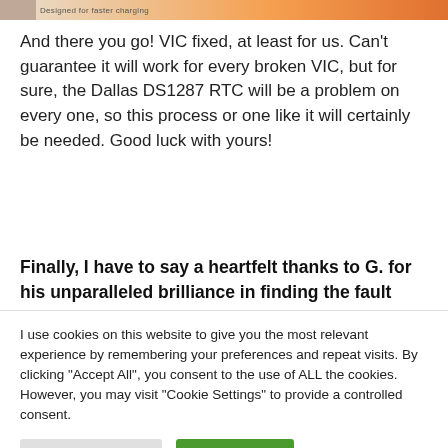[Figure (photo): Top strip of an image showing product packaging with text 'Designed for faster charging' in orange/tan colors]
And there you go! VIC fixed, at least for us. Can't guarantee it will work for every broken VIC, but for sure, the Dallas DS1287 RTC will be a problem on every one, so this process or one like it will certainly be needed. Good luck with yours!
Finally, I have to say a heartfelt thanks to G. for his unparalleled brilliance in finding the fault
I use cookies on this website to give you the most relevant experience by remembering your preferences and repeat visits. By clicking "Accept All", you consent to the use of ALL the cookies. However, you may visit "Cookie Settings" to provide a controlled consent.